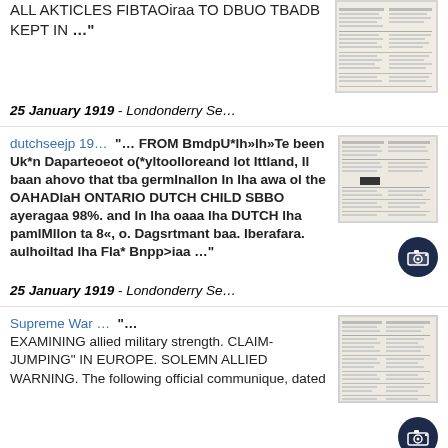ALL AKTICLES FIBTAOiraa TO DBUO TBADB KEPT IN ..."
[Figure (photo): Thumbnail of a newspaper page]
25 January 1919 - Londonderry Se…
dutchseejp 19...  "... FROM BmdpU*lh»lh»Te been Uk*n Daparteoeot o(*yltoolloreand lot Ittland, Il baan ahovo that tba germInallon In lha awa ol the OAHADIaH ONTARIO DUTCH CHILD SBBO ayeragaa 98%. and In lha oaaa lha DUTCH lha pamlMllon ta 8«, o. Dagsrtmant baa. Iberafara. aulhoiltad lha Fla* Bnpp>iaa ..."
[Figure (photo): Thumbnail of a newspaper page]
[Figure (other): Camera icon button (dark navy circle)]
25 January 1919 - Londonderry Se…
Supreme War ...  "... EXAMINING allied military strength. CLAIM-JUMPING" IN EUROPE. SOLEMN ALLIED WARNING. The following official communique, dated
[Figure (photo): Thumbnail of a newspaper page]
[Figure (other): Camera icon button (dark navy circle)]